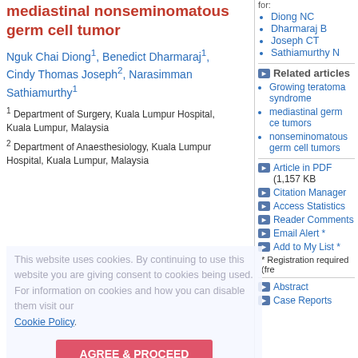mediastinal nonseminomatous germ cell tumor
Nguk Chai Diong¹, Benedict Dharmaraj¹, Cindy Thomas Joseph², Narasimman Sathiamurthy¹
¹ Department of Surgery, Kuala Lumpur Hospital, Kuala Lumpur, Malaysia
² Department of Anaesthesiology, Kuala Lumpur Hospital, Kuala Lumpur, Malaysia
Diong NC
Dharmaraj B
Joseph CT
Sathiamurthy N
Related articles
Growing teratoma syndrome
mediastinal germ cell tumors
nonseminomatous germ cell tumors
Article in PDF (1,157 KB)
Citation Manager
Access Statistics
Reader Comments
Email Alert *
Add to My List *
* Registration required (fre
Abstract
Case Reports
|  |  |
| --- | --- |
| Date of Submission | 05-Oct-2019 |
| Date of Acceptance | 21-Nov-2019 |
| Date of Web Publication | 02-Jan-2020 |
This website uses cookies. By continuing to use this website you are giving consent to cookies being used. For information on cookies and how you can disable them visit our Cookie Policy.